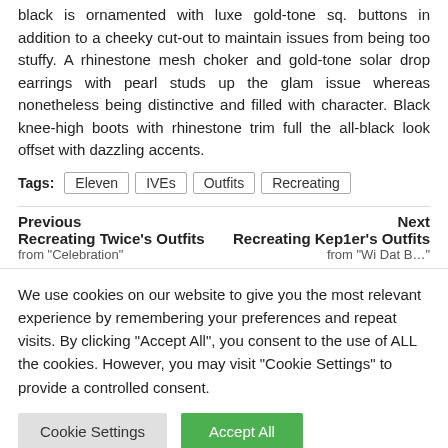black is ornamented with luxe gold-tone sq. buttons in addition to a cheeky cut-out to maintain issues from being too stuffy. A rhinestone mesh choker and gold-tone solar drop earrings with pearl studs up the glam issue whereas nonetheless being distinctive and filled with character. Black knee-high boots with rhinestone trim full the all-black look offset with dazzling accents.
Tags: Eleven  IVEs  Outfits  Recreating
Previous
Recreating Twice's Outfits
from "Celebration"
Next
Recreating Kep1er's Outfits
from "Wi Dat B…"
We use cookies on our website to give you the most relevant experience by remembering your preferences and repeat visits. By clicking "Accept All", you consent to the use of ALL the cookies. However, you may visit "Cookie Settings" to provide a controlled consent.